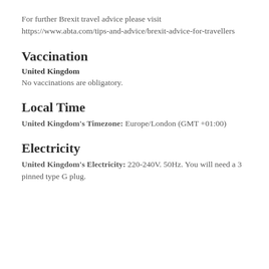For further Brexit travel advice please visit https://www.abta.com/tips-and-advice/brexit-advice-for-travellers
Vaccination
United Kingdom
No vaccinations are obligatory.
Local Time
United Kingdom's Timezone: Europe/London (GMT +01:00)
Electricity
United Kingdom's Electricity: 220-240V. 50Hz. You will need a 3 pinned type G plug.